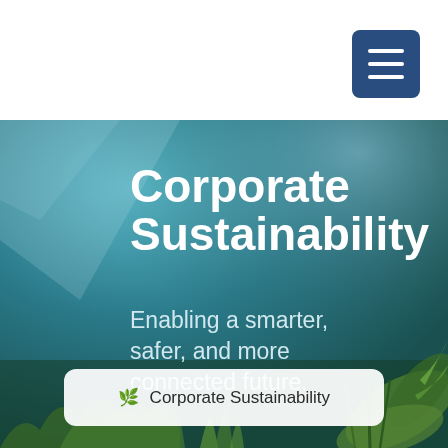[Figure (other): Corporate Sustainability report cover page with teal/blue-green background showing nature/plants imagery. Contains a white header bar at top with a hamburger menu button (dark blue rounded square), a large bold white title 'Corporate Sustainability', a subtitle 'Enabling a smarter, safer, and more connected future.', and a white rounded button at the bottom reading '🌿 Corporate Sustainability'.]
Corporate Sustainability
Enabling a smarter, safer, and more connected future.
✦ Corporate Sustainability